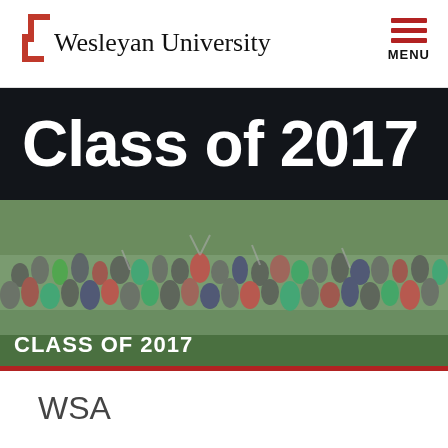[Figure (logo): Wesleyan University logo bracket with university name]
MENU
Class of 2017
[Figure (photo): Group photo of the Class of 2017 students outdoors with arms raised, with text 'CLASS OF 2017' overlaid]
WSA